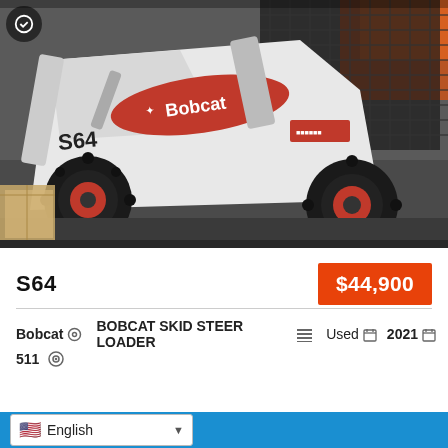[Figure (photo): Close-up photo of a Bobcat S64 skid steer loader with white body, red Bobcat branding, black roll cage/grill, and large black tires with red rims, parked indoors on a concrete floor.]
S64
$44,900
Bobcat   BOBCAT SKID STEER LOADER   Used   2021
511
English